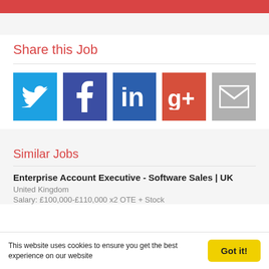Share this Job
[Figure (infographic): Row of five social sharing buttons: Twitter (light blue), Facebook (dark blue), LinkedIn (blue), Google+ (red), Email (gray)]
Similar Jobs
Enterprise Account Executive - Software Sales | UK
United Kingdom
Salary: £100,000-£110,000 x2 OTE + Stock
This website uses cookies to ensure you get the best experience on our website